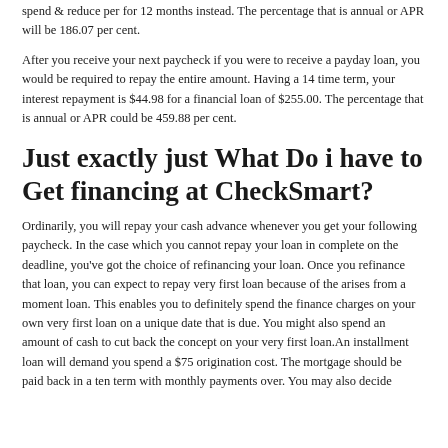spend & reduce per for 12 months instead. The percentage that is annual or APR will be 186.07 per cent.
After you receive your next paycheck if you were to receive a payday loan, you would be required to repay the entire amount. Having a 14 time term, your interest repayment is $44.98 for a financial loan of $255.00. The percentage that is annual or APR could be 459.88 per cent.
Just exactly just What Do i have to Get financing at CheckSmart?
Ordinarily, you will repay your cash advance whenever you get your following paycheck. In the case which you cannot repay your loan in complete on the deadline, you've got the choice of refinancing your loan. Once you refinance that loan, you can expect to repay very first loan because of the arises from a moment loan. This enables you to definitely spend the finance charges on your own very first loan on a unique date that is due. You might also spend an amount of cash to cut back the concept on your very first loan.An installment loan will demand you spend a $75 origination cost. The mortgage should be paid back in a ten term with monthly payments over. You may also decide